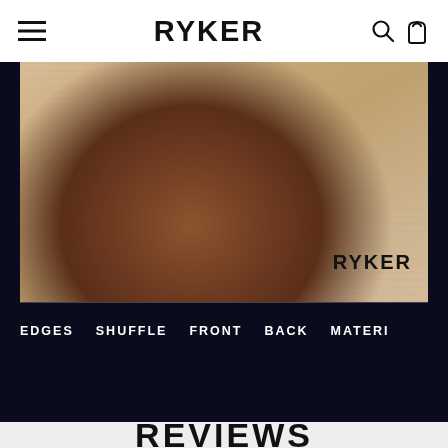RYKER
[Figure (photo): Close-up photo of a dark-skinned hand resting on a light wood grain surface with RYKER logo in bottom right corner]
EDGES   SHUFFLE   FRONT   BACK   MATERI
REVIEWS